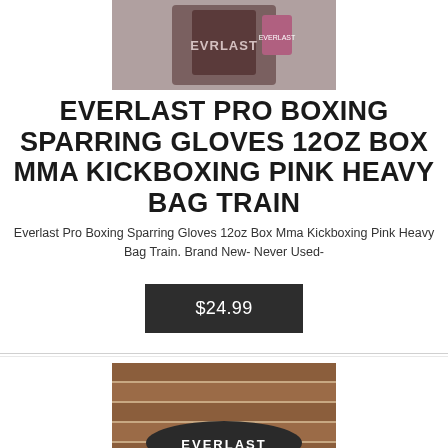[Figure (photo): Product photo of Everlast boxing gloves, partially cropped at top]
EVERLAST PRO BOXING SPARRING GLOVES 12OZ BOX MMA KICKBOXING PINK HEAVY BAG TRAIN
Everlast Pro Boxing Sparring Gloves 12oz Box Mma Kickboxing Pink Heavy Bag Train. Brand New- Never Used-
$24.99
[Figure (photo): Product photo of Everlast boxing equipment on brick background, partially cropped at bottom]